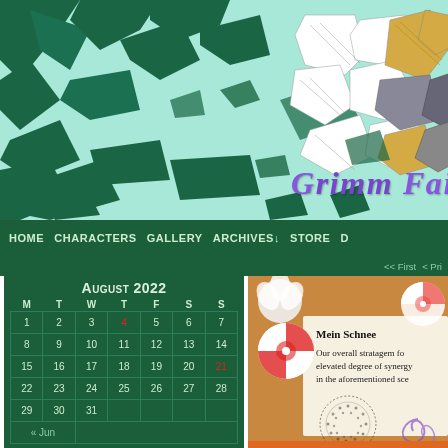[Figure (illustration): Website banner with mint/aqua background, dark green broken glass shards scattered, and stylized shattered logo text with colorful fragments on right side]
GRIMM FAIR
HOME   CHARACTERS   GALLERY   ARCHIVES↓   STORE   D
<< First  < Pri
[Figure (illustration): August 2022 calendar widget on dark green background with bordered date cells, red highlighted dates 4 and 21, and nav link « Jun]
[Figure (illustration): Comic page panel showing candy/sweet imagery with brown background, circular candy designs, and a letter/note reading 'Mein Schnee - Our overall stratagem fo elevated degree of synergy in the aforementioned sce' with ink stamp/seal at bottom]